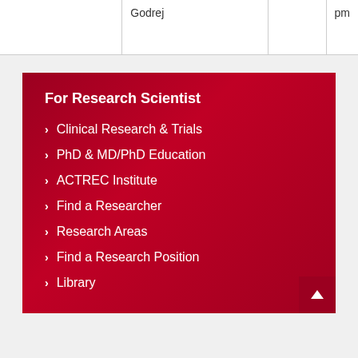|  | Godrej |  | pm |
For Research Scientist
Clinical Research & Trials
PhD & MD/PhD Education
ACTREC Institute
Find a Researcher
Research Areas
Find a Research Position
Library